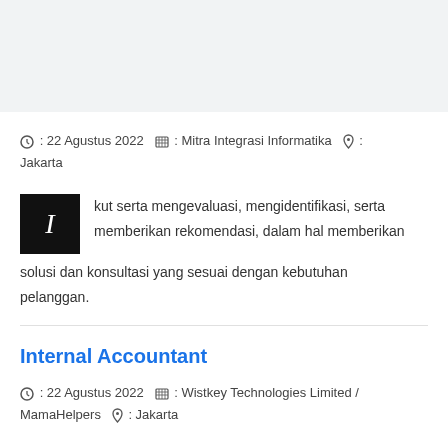⏱ : 22 Agustus 2022 🏢 : Mitra Integrasi Informatika 📍 : Jakarta
I kut serta mengevaluasi, mengidentifikasi, serta memberikan rekomendasi, dalam hal memberikan solusi dan konsultasi yang sesuai dengan kebutuhan pelanggan.
Internal Accountant
⏱ : 22 Agustus 2022 🏢 : Wistkey Technologies Limited / MamaHelpers 📍 : Jakarta